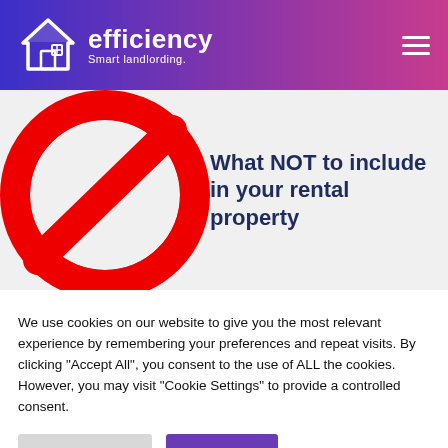efficiency Smart landlording.
[Figure (illustration): Red prohibition/no sign (circle with diagonal bar) on light gray background, left half of hero section]
What NOT to include in your rental property
We use cookies on our website to give you the most relevant experience by remembering your preferences and repeat visits. By clicking “Accept All”, you consent to the use of ALL the cookies. However, you may visit “Cookie Settings” to provide a controlled consent.
Cookie Settings | Accept All